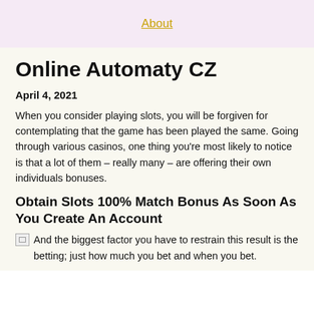About
Online Automaty CZ
April 4, 2021
When you consider playing slots, you will be forgiven for contemplating that the game has been played the same. Going through various casinos, one thing you're most likely to notice is that a lot of them – really many – are offering their own individuals bonuses.
Obtain Slots 100% Match Bonus As Soon As You Create An Account
And the biggest factor you have to restrain this result is the betting; just how much you bet and when you bet.